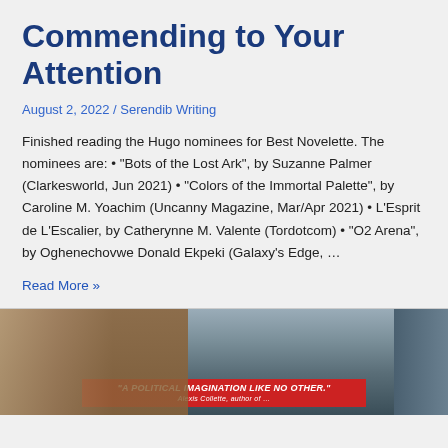Commending to Your Attention
August 2, 2022 / Serendib Writing
Finished reading the Hugo nominees for Best Novelette. The nominees are: • "Bots of the Lost Ark", by Suzanne Palmer (Clarkesworld, Jun 2021) • "Colors of the Immortal Palette", by Caroline M. Yoachim (Uncanny Magazine, Mar/Apr 2021) • L'Esprit de L'Escalier, by Catherynne M. Valente (Tordotcom) • "O2 Arena", by Oghenechovwe Donald Ekpeki (Galaxy's Edge, ...
Read More »
[Figure (photo): Photograph showing what appears to be a vending machine or lockers on the left side, with a red banner/book cover visible at the bottom center reading 'A POLITICAL IMAGINATION LIKE NO OTHER.' and a blue vertical element on the right edge.]